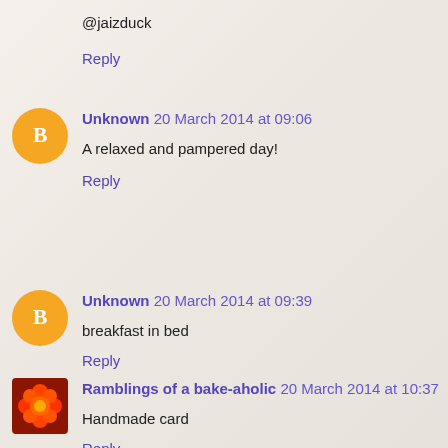@jaizduck
Reply
Unknown 20 March 2014 at 09:06
A relaxed and pampered day!
Reply
Unknown 20 March 2014 at 09:39
breakfast in bed
Reply
Ramblings of a bake-aholic 20 March 2014 at 10:37
Handmade card
Reply